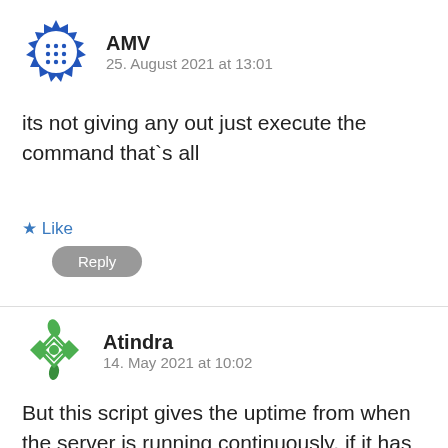[Figure (illustration): Blue spiky avatar icon for user AMV]
AMV
25. August 2021 at 13:01
its not giving any out just execute the command that`s all
Like
Reply
[Figure (illustration): Green geometric/diamond pattern avatar icon for user Atindra]
Atindra
14. May 2021 at 10:02
But this script gives the uptime from when the server is running continuously, if it has been restarted it does not calculate the data before restarting, right? Is there a way to get the monthly